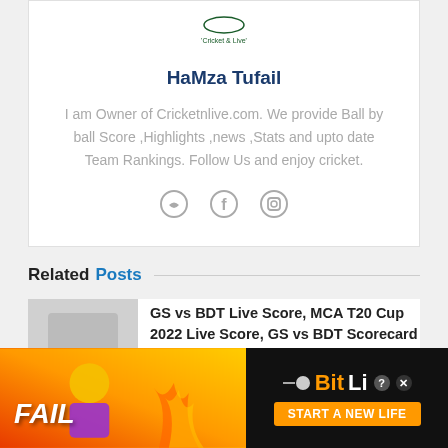[Figure (logo): Cricket & Live website logo at top of author card]
HaMza Tufail
I am Owner of Cricketnlive.com. We provide Ball by ball Score ,Highlights ,news ,Stats and upto date Team Rankings. Follow Us and enjoy cricket.
[Figure (illustration): Social media icons: website/heart icon, Facebook icon, Instagram icon]
Related Posts
GS vs BDT Live Score, MCA T20 Cup 2022 Live Score, GS vs BDT Scorecard Today, Lineup
[Figure (illustration): Advertisement banner: BitLife - Start a New Life, with FAIL text and cartoon character]